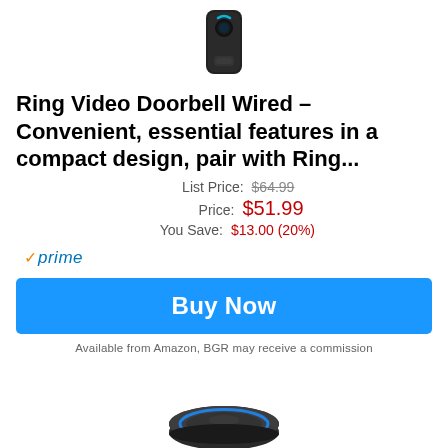[Figure (photo): Ring Video Doorbell Wired product image showing a slim black doorbell device with a circular camera lens at top]
Ring Video Doorbell Wired – Convenient, essential features in a compact design, pair with Ring...
List Price: $64.99
Price: $51.99
You Save: $13.00 (20%)
✓prime
Buy Now
Available from Amazon, BGR may receive a commission
[Figure (photo): Amazon Echo Dot (3rd generation) smart speaker shown from a slight angle, dark charcoal fabric finish with blue ring light]